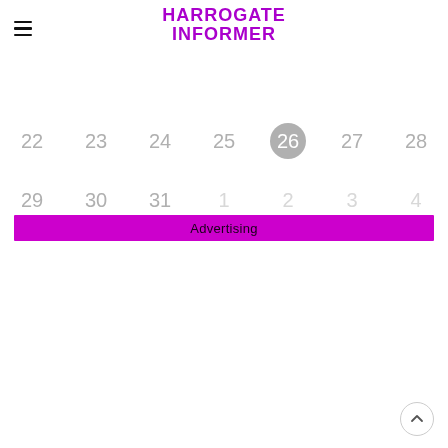HARROGATE INFORMER
[Figure (other): Calendar week view showing dates 22–28 in row 1 (26 highlighted with grey circle) and 29–31, 1–4 in row 2 (1–4 faded/greyed out as next month)]
Advertising